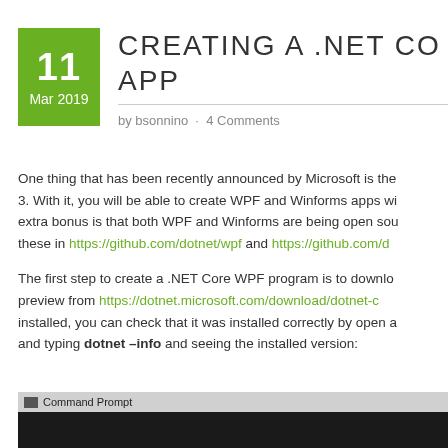CREATING A .NET CO... APP
by bsonnino · 4 Comments
One thing that has been recently announced by Microsoft is the... 3. With it, you will be able to create WPF and Winforms apps wi... extra bonus is that both WPF and Winforms are being open sou... these in https://github.com/dotnet/wpf and https://github.com/d...
The first step to create a .NET Core WPF program is to downlo... preview from https://dotnet.microsoft.com/download/dotnet-c... installed, you can check that it was installed correctly by open a... and typing dotnet –info and seeing the installed version:
[Figure (screenshot): Command Prompt window with dark background, showing the title bar labeled 'Command Prompt']